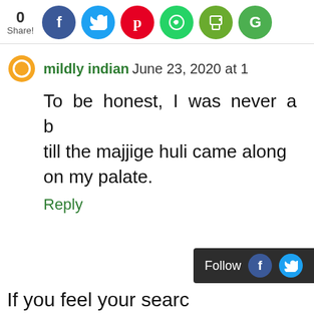[Figure (infographic): Share count (0) and social media sharing buttons: Facebook, Twitter, Pinterest, WhatsApp, Print, Google]
mildly indian June 23, 2020 at 1
To be honest, I was never a b till the majjige huli came along on my palate.
Reply
[Figure (infographic): Follow bar with Facebook and Twitter icons]
If you feel your searc